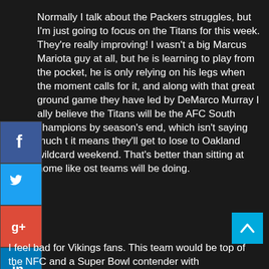Normally I talk about the Packers struggles, but I'm just going to focus on the Titans for this week. They're really improving!  I wasn't a big Marcus Mariota guy at all, but he is learning to play from the pocket, he is only relying on his legs when the moment calls for it, and along with that great ground game they have led by DeMarco Murray I ally believe the Titans will be the AFC South champions by season's end, which isn't saying much t it means they'll get to lose to Oakland wildcard weekend.  That's better than sitting at home like ost teams will be doing.
[Figure (other): Social media share buttons: Facebook, Twitter, Google+, LinkedIn]
[Figure (other): Scroll-to-top button (cyan square with up arrow)]
I feel bad for Vikings fans.  This team would be top of the NFC and a Super Bowl contender with